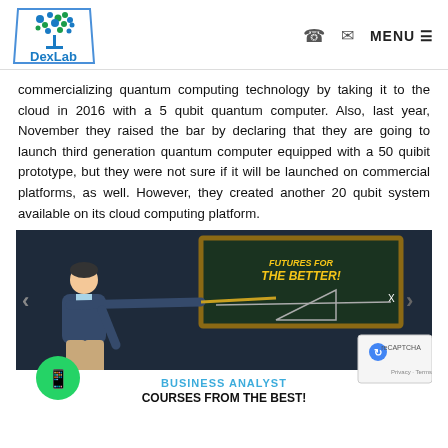DexLab Analytics - logo and navigation
commercializing quantum computing technology by taking it to the cloud in 2016 with a 5 qubit quantum computer. Also, last year, November they raised the bar by declaring that they are going to launch third generation quantum computer equipped with a 50 quibit prototype, but they were not sure if it will be launched on commercial platforms, as well. However, they created another 20 qubit system available on its cloud computing platform.
[Figure (illustration): Promotional banner showing a teacher pointing at a blackboard with text 'FUTURES FOR THE BETTER!' in yellow and 'BUSINESS ANALYST COURSES FROM THE BEST!' below. A WhatsApp button and reCAPTCHA badge are also visible.]